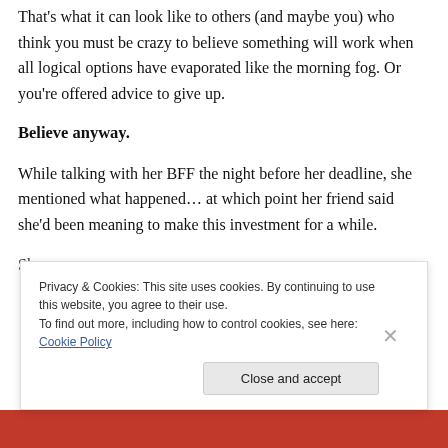That's what it can look like to others (and maybe you) who think you must be crazy to believe something will work when all logical options have evaporated like the morning fog. Or you're offered advice to give up.
Believe anyway.
While talking with her BFF the night before her deadline, she mentioned what happened… at which point her friend said she'd been meaning to make this investment for a while.
She...
Privacy & Cookies: This site uses cookies. By continuing to use this website, you agree to their use. To find out more, including how to control cookies, see here: Cookie Policy
Close and accept